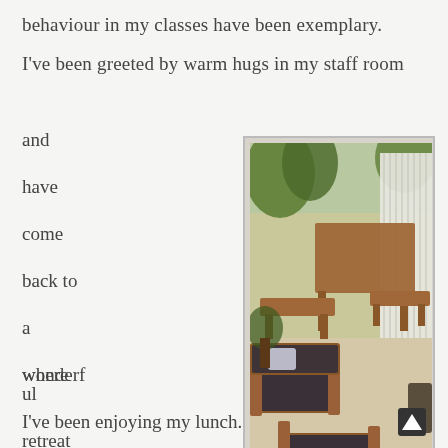behaviour in my classes have been exemplary.
I've been greeted by warm hugs in my staff room
and
have
come
back to
a
wonderful
retreat
area
[Figure (photo): Outdoor patio/retreat area with wooden table, benches, and lounge chairs with dark cushions, surrounded by greenery and a white fence.]
where
I've been enjoying my lunch.